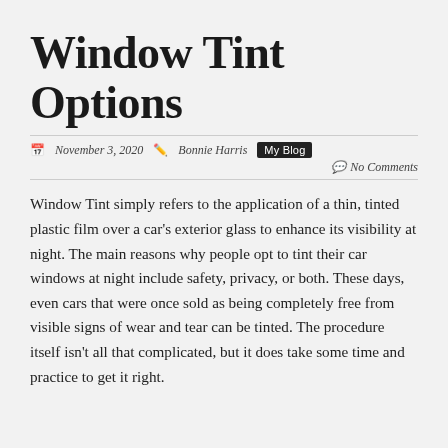Window Tint Options
November 3, 2020  Bonnie Harris  My Blog  No Comments
Window Tint simply refers to the application of a thin, tinted plastic film over a car's exterior glass to enhance its visibility at night. The main reasons why people opt to tint their car windows at night include safety, privacy, or both. These days, even cars that were once sold as being completely free from visible signs of wear and tear can be tinted. The procedure itself isn't all that complicated, but it does take some time and practice to get it right.